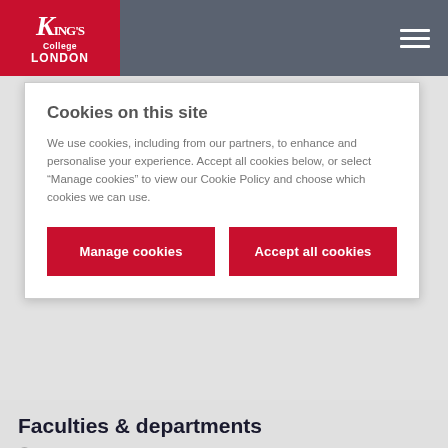King's College London
Cookies on this site
We use cookies, including from our partners, to enhance and personalise your experience. Accept all cookies below, or select “Manage cookies” to view our Cookie Policy and choose which cookies we can use.
Manage cookies
Accept all cookies
Faculties & departments
Business
Global Banking & Finance